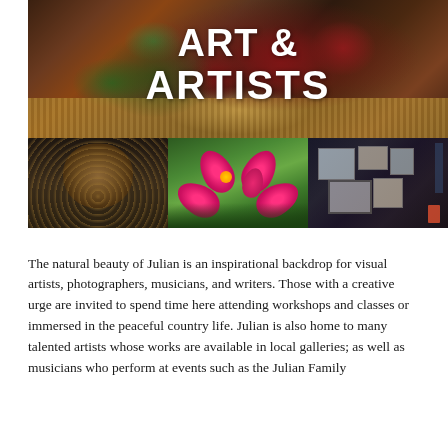[Figure (photo): Collage of three art-related images: top large image shows red apples in a basket with the text 'ART & ARTISTS' overlaid in white bold font; bottom-left shows a textured ceramic vase/vessel; bottom-center shows pink/magenta flowers; bottom-right shows an art gallery interior with framed paintings on dark walls.]
The natural beauty of Julian is an inspirational backdrop for visual artists, photographers, musicians, and writers. Those with a creative urge are invited to spend time here attending workshops and classes or immersed in the peaceful country life. Julian is also home to many talented artists whose works are available in local galleries; as well as musicians who perform at events such as the Julian Family...